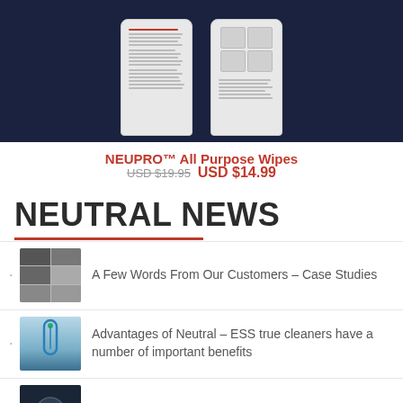[Figure (photo): Two white cylindrical canisters of NEUPRO All Purpose Wipes against a dark navy background]
NEUPRO™ All Purpose Wipes
USD $19.95 USD $14.99
NEUTRAL NEWS
A Few Words From Our Customers – Case Studies
Advantages of Neutral – ESS true cleaners have a number of important benefits
Neutrals cleaned aluminum parts with